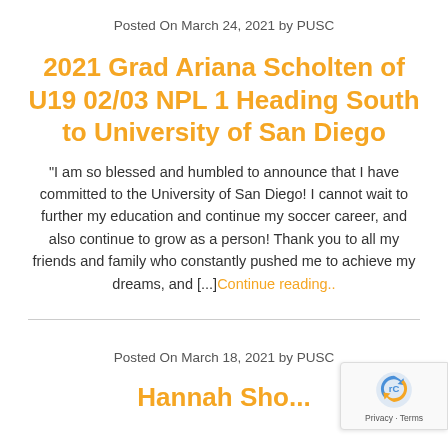Posted On March 24, 2021 by PUSC
2021 Grad Ariana Scholten of U19 02/03 NPL 1 Heading South to University of San Diego
“I am so blessed and humbled to announce that I have committed to the University of San Diego! I cannot wait to further my education and continue my soccer career, and also continue to grow as a person! Thank you to all my friends and family who constantly pushed me to achieve my dreams, and [...]Continue reading..
Posted On March 18, 2021 by PUSC
Hannah Sho...